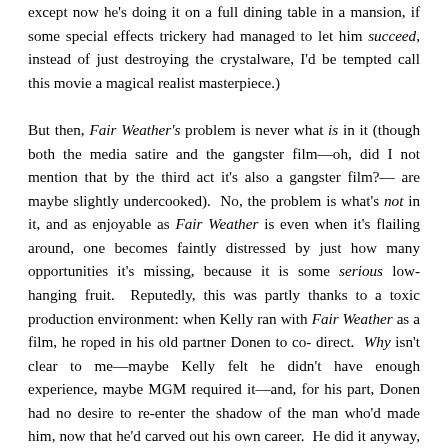except now he's doing it on a full dining table in a mansion, if some special effects trickery had managed to let him succeed, instead of just destroying the crystalware, I'd be tempted call this movie a magical realist masterpiece.)
But then, Fair Weather's problem is never what is in it (though both the media satire and the gangster film—oh, did I not mention that by the third act it's also a gangster film?—are maybe slightly undercooked). No, the problem is what's not in it, and as enjoyable as Fair Weather is even when it's flailing around, one becomes faintly distressed by just how many opportunities it's missing, because it is some serious low-hanging fruit. Reputedly, this was partly thanks to a toxic production environment: when Kelly ran with Fair Weather as a film, he roped in his old partner Donen to co-direct. Why isn't clear to me—maybe Kelly felt he didn't have enough experience, maybe MGM required it—and, for his part, Donen had no desire to re-enter the shadow of the man who'd made him, now that he'd carved out his own career. He did it anyway, and was proven right to be wary (the general consensus seems to be that despite Donen's presence, Kelly ran the set like a tyrant). In one of those Hollywood ironic juxtapositions Kelly and Donen this—